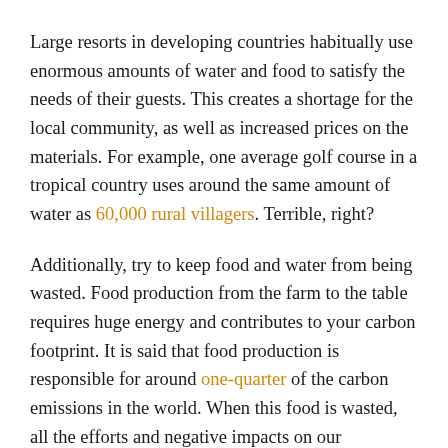Large resorts in developing countries habitually use enormous amounts of water and food to satisfy the needs of their guests. This creates a shortage for the local community, as well as increased prices on the materials. For example, one average golf course in a tropical country uses around the same amount of water as 60,000 rural villagers. Terrible, right?
Additionally, try to keep food and water from being wasted. Food production from the farm to the table requires huge energy and contributes to your carbon footprint. It is said that food production is responsible for around one-quarter of the carbon emissions in the world. When this food is wasted, all the efforts and negative impacts on our environment are lost for nothing and create further problems for landfills. Fresh water and food are scarce resources – being aware of our consumption